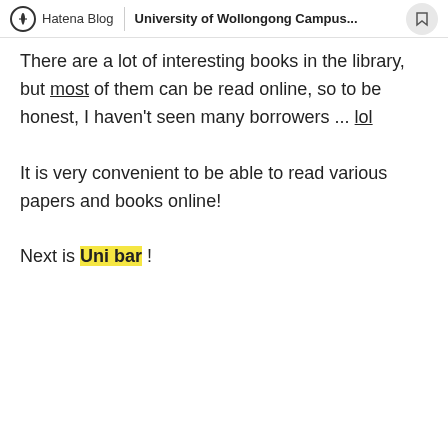Hatena Blog | University of Wollongong Campus...
There are a lot of interesting books in the library, but most of them can be read online, so to be honest, I haven't seen many borrowers ... lol
It is very convenient to be able to read various papers and books online!
Next is Uni bar !